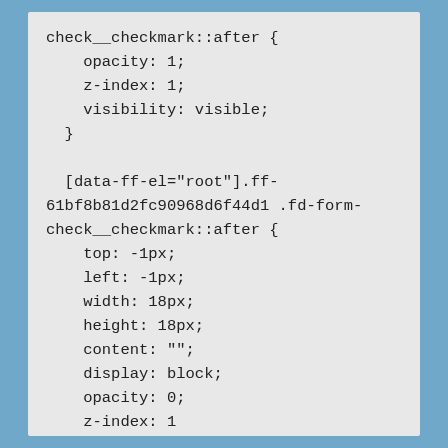check__checkmark::after {
    opacity: 1;
    z-index: 1;
    visibility: visible;
  }

  [data-ff-el="root"].ff-61bf8b81d2fc90968d6f44d1 .fd-form-check__checkmark::after {
    top: -1px;
    left: -1px;
    width: 18px;
    height: 18px;
    content: "";
    display: block;
    opacity: 0;
    z-index: 1